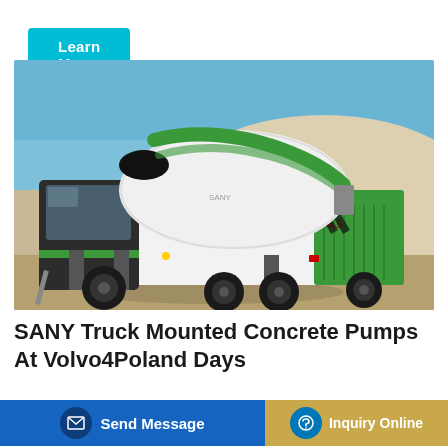Learn More
[Figure (photo): A SANY green and white self-loading concrete mixer truck parked on a sandy construction site with a pale blue sky and sand hills in the background. The truck has a large rotating drum with green stripe markings and the number 6.5 on the side.]
SANY Truck Mounted Concrete Pumps At Volvo4Poland Days
Send Message
Inquiry Online
ncrete mounted concrete pump are widely used at construction sites.